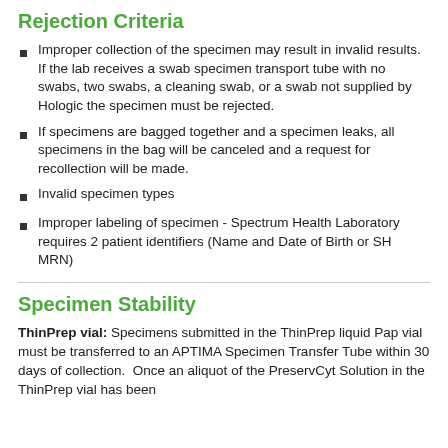Rejection Criteria
Improper collection of the specimen may result in invalid results.  If the lab receives a swab specimen transport tube with no swabs, two swabs, a cleaning swab, or a swab not supplied by Hologic the specimen must be rejected.
If specimens are bagged together and a specimen leaks, all specimens in the bag will be canceled and a request for recollection will be made.
Invalid specimen types
Improper labeling of specimen - Spectrum Health Laboratory requires 2 patient identifiers (Name and Date of Birth or SH MRN)
Specimen Stability
ThinPrep vial: Specimens submitted in the ThinPrep liquid Pap vial must be transferred to an APTIMA Specimen Transfer Tube within 30 days of collection.  Once an aliquot of the PreservCyt Solution in the ThinPrep vial has been